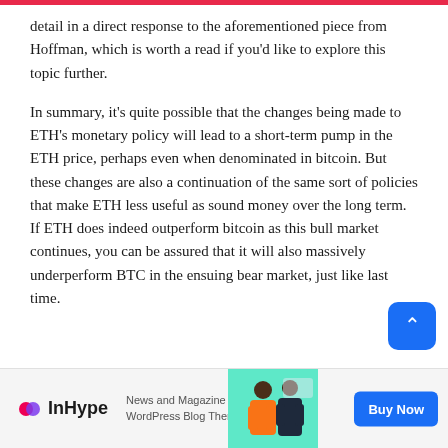detail in a direct response to the aforementioned piece from Hoffman, which is worth a read if you'd like to explore this topic further.
In summary, it's quite possible that the changes being made to ETH's monetary policy will lead to a short-term pump in the ETH price, perhaps even when denominated in bitcoin. But these changes are also a continuation of the same sort of policies that make ETH less useful as sound money over the long term. If ETH does indeed outperform bitcoin as this bull market continues, you can be assured that it will also massively underperform BTC in the ensuing bear market, just like last time.
[Figure (other): InHype News and Magazine WordPress Blog Theme advertisement banner with logo, tagline, decorative image of people, and a blue 'Buy Now' button]